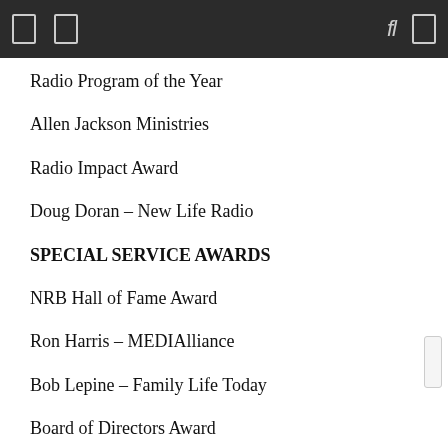Radio Program of the Year
Allen Jackson Ministries
Radio Impact Award
Doug Doran – New Life Radio
SPECIAL SERVICE AWARDS
NRB Hall of Fame Award
Ron Harris – MEDIAlliance
Bob Lepine – Family Life Today
Board of Directors Award
Shannon Bream – FOX News